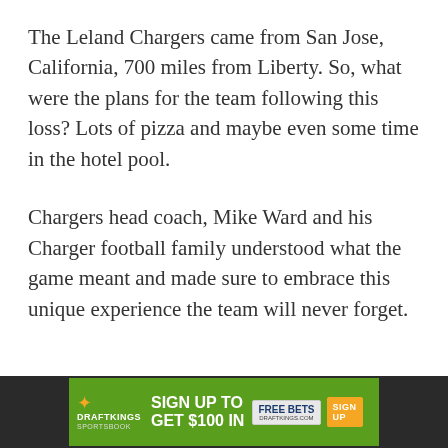The Leland Chargers came from San Jose, California, 700 miles from Liberty. So, what were the plans for the team following this loss? Lots of pizza and maybe even some time in the hotel pool.
Chargers head coach, Mike Ward and his Charger football family understood what the game meant and made sure to embrace this unique experience the team will never forget.
[Figure (other): DraftKings Sportsbook advertisement banner: 'Sign up to get $100 in Free Bets' with Sign Up button]